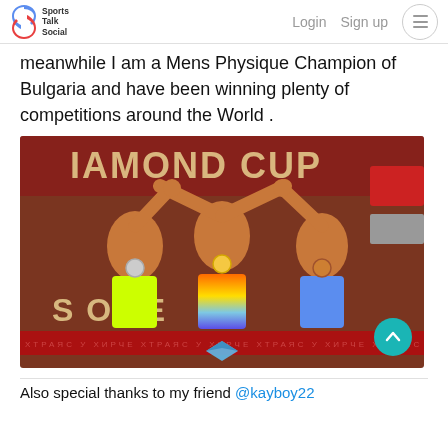Sports Talk Social | Login  Sign up
meanwhile I am a Mens Physique Champion of Bulgaria and have been winning plenty of competitions around the World .
[Figure (photo): Three male physique competitors on stage at a Diamond Cup competition, raising their hands together. The left competitor wears yellow shorts and a silver medal, the center competitor wears rainbow gradient shorts and a gold medal, and the right competitor wears blue shorts and a bronze medal. A red banner in the background reads 'DIAMOND CUP SKOPJE'.]
Also special thanks to my friend @kayboy22